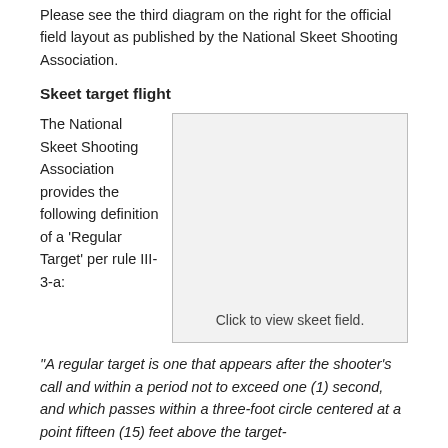Please see the third diagram on the right for the official field layout as published by the National Skeet Shooting Association.
Skeet target flight
The National Skeet Shooting Association provides the following definition of a 'Regular Target' per rule III-3-a:
[Figure (other): Placeholder box labeled 'Click to view skeet field.']
“A regular target is one that appears after the shooter’s call and within a period not to exceed one (1) second, and which passes within a three-foot circle centered at a point fifteen (15) feet above the target-